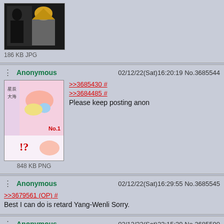[Figure (photo): Thumbnail image of two characters, one with dark hair and one with blonde hair, dark background. 186 KB JPG]
186 KB JPG
Anonymous  02/12/22(Sat)16:20:19 No.3685544
[Figure (illustration): Manga-style illustration with Japanese text 星辰大海 and colorful food/flower imagery, labeled No.1. 848 KB PNG]
>>3685430 #
>>3684485 #
Please keep posting anon
848 KB PNG
Anonymous  02/12/22(Sat)16:29:55 No.3685545
>>3679561 (OP) #
Best I can do is retard Yang-Wenli Sorry.
Anonymous  02/12/22(Sat)23:15:39 No.3685590
[Figure (photo): Photo of a person with dark hair]
yang a cute